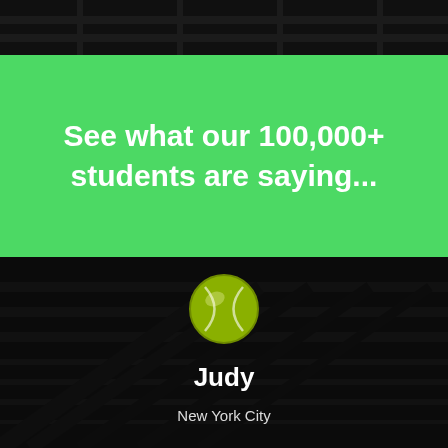[Figure (photo): Dark photo background of a tennis court/net at the top of the page]
See what our 100,000+ students are saying...
[Figure (photo): Dark photo of a tennis ball on a court/net with dark overlay, showing name 'Judy' and location 'New York City']
Judy
New York City